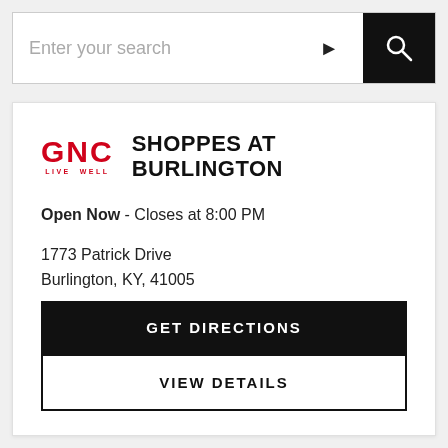[Figure (screenshot): Search bar with placeholder text 'Enter your search', a location arrow icon, and a black search button with magnifying glass icon]
[Figure (logo): GNC Live Well logo in red]
SHOPPES AT BURLINGTON
Open Now - Closes at 8:00 PM
1773 Patrick Drive
Burlington, KY, 41005
(859) 689-4900
GET DIRECTIONS
VIEW DETAILS